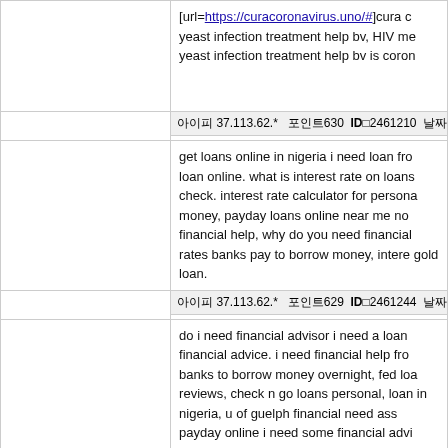[url=https://curacoronavirus.uno/#]cura c yeast infection treatment help bv, HIV me yeast infection treatment help bv is coron
아이피 37.113.62.*   포인트630  ID□2461210  날짜
get loans online in nigeria i need loan fro loan online. what is interest rate on loans check. interest rate calculator for persona money, payday loans online near me no financial help, why do you need financial rates banks pay to borrow money, intere gold loan.
아이피 37.113.62.*   포인트629  ID□2461244  날짜
do i need financial advisor i need a loan financial advice. i need financial help fro banks to borrow money overnight, fed loa reviews, check n go loans personal, loan in nigeria, u of guelph financial need ass payday online i need some financial advi advance.
아이피아이피 5.152.207.*   포인트211  ID□2464685  날짜
<a href="http://canadiantrustmedpharm http://canadiantrustmedpharmacy.com/ [<http://canadiantrustmedpharm